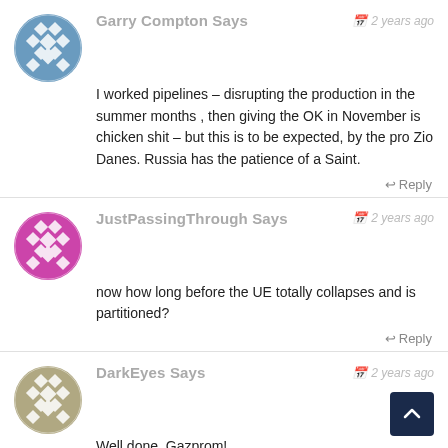[Figure (illustration): Blue geometric pattern avatar for Garry Compton]
Garry Compton Says
2 years ago
I worked pipelines – disrupting the production in the summer months , then giving the OK in November is chicken shit – but this is to be expected, by the pro Zio Danes. Russia has the patience of a Saint.
Reply
[Figure (illustration): Magenta/pink geometric pattern avatar for JustPassingThrough]
JustPassingThrough Says
2 years ago
now how long before the UE totally collapses and is partitioned?
Reply
[Figure (illustration): Tan/khaki geometric pattern avatar for DarkEyes]
DarkEyes Says
2 years ago
Well done, Gazprom!
Congratulations!